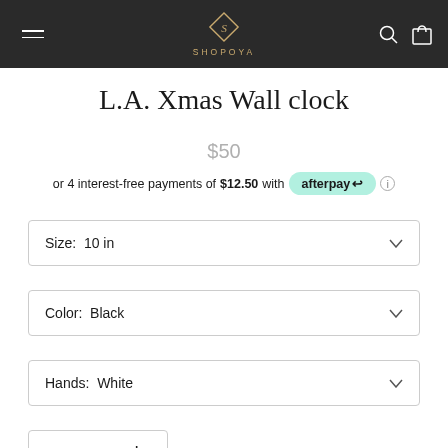SHOPOYA
L.A. Xmas Wall clock
$50
or 4 interest-free payments of $12.50 with afterpay
Size: 10 in
Color: Black
Hands: White
1